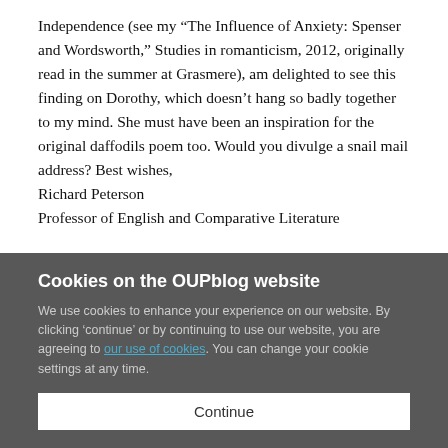Independence (see my “The Influence of Anxiety: Spenser and Wordsworth,” Studies in romanticism, 2012, originally read in the summer at Grasmere), am delighted to see this finding on Dorothy, which doesn’t hang so badly together to my mind. She must have been an inspiration for the original daffodils poem too. Would you divulge a snail mail address? Best wishes,
Richard Peterson
Professor of English and Comparative Literature
Cookies on the OUPblog website
We use cookies to enhance your experience on our website. By clicking ‘continue’ or by continuing to use our website, you are agreeing to our use of cookies. You can change your cookie settings at any time.
Continue